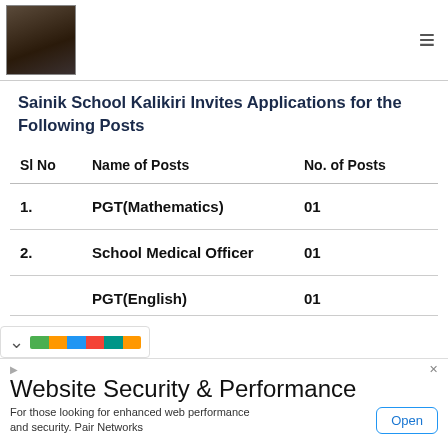Sainik School Kalikiri — header with logo and menu
Sainik School Kalikiri Invites Applications for the Following Posts
| Sl No | Name of Posts | No. of Posts |
| --- | --- | --- |
| 1. | PGT(Mathematics) | 01 |
| 2. | School Medical Officer | 01 |
| 3. | PGT(English) | 01 |
Website Security & Performance — Ad banner: For those looking for enhanced web performance and security. Pair Networks